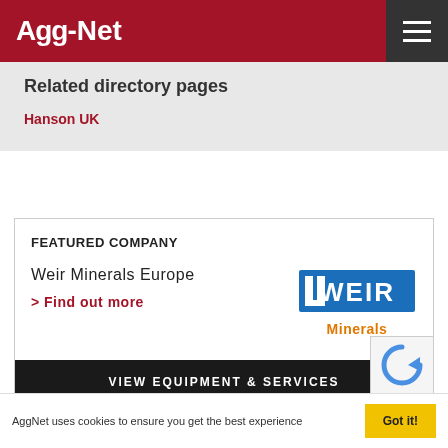Agg-Net
Related directory pages
Hanson UK
FEATURED COMPANY
Weir Minerals Europe
> Find out more
[Figure (logo): Weir Minerals logo — WEIR in bold blue block letters, Minerals in orange below]
VIEW EQUIPMENT & SERVICES
[Figure (logo): reCAPTCHA icon — blue circular arrow logo]
AggNet uses cookies to ensure you get the best experience
Got it!